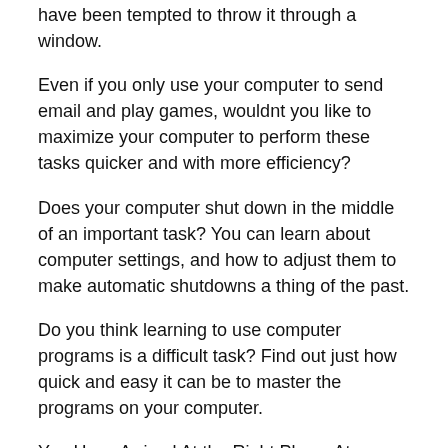have been tempted to throw it through a window.
Even if you only use your computer to send email and play games, wouldnt you like to maximize your computer to perform these tasks quicker and with more efficiency?
Does your computer shut down in the middle of an important task? You can learn about computer settings, and how to adjust them to make automatic shutdowns a thing of the past.
Do you think learning to use computer programs is a difficult task? Find out just how quick and easy it can be to master the programs on your computer.
You Have Arrived At the Right Place, At EXACTLY The Right Time!